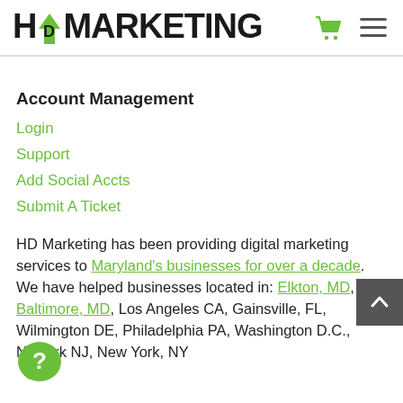[Figure (logo): HD Marketing logo with green arrow icon and bold black text]
Account Management
Login
Support
Add Social Accts
Submit A Ticket
HD Marketing has been providing digital marketing services to Maryland's businesses for over a decade. We have helped businesses located in: Elkton, MD, Baltimore, MD, Los Angeles CA, Gainsville, FL, Wilmington DE, Philadelphia PA, Washington D.C., Newark NJ, New York, NY